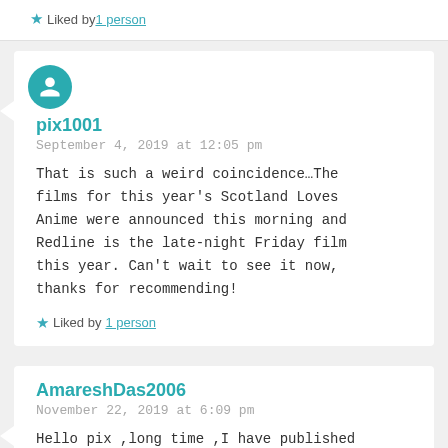★ Liked by 1 person
pix1001
September 4, 2019 at 12:05 pm

That is such a weird coincidence…The films for this year's Scotland Loves Anime were announced this morning and Redline is the late-night Friday film this year. Can't wait to see it now, thanks for recommending!
★ Liked by 1 person
AmareshDas2006
November 22, 2019 at 6:09 pm

Hello pix ,long time ,I have published